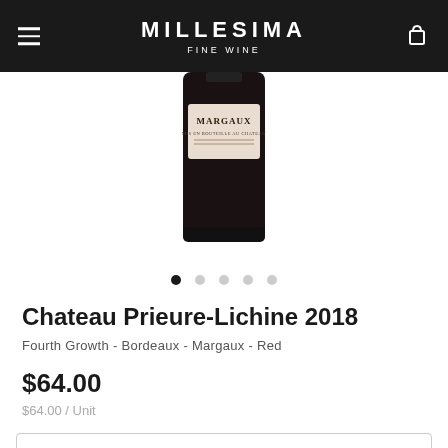MILLESIMA FINE WINE
[Figure (photo): Wine bottle for Chateau Prieure-Lichine 2018 Margaux, showing label with text MARGAUX and MIS EN BOUTEILLE AU CHATEAU, dark bottle with red wine]
Chateau Prieure-Lichine 2018
Fourth Growth - Bordeaux - Margaux - Red
$64.00
$64.00 / Unit
1 Bottle (750ML) - $64.00